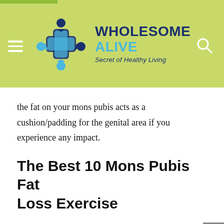[Figure (logo): Wholesome Alive website header with logo showing people figures around a medical cross in blue/teal tones, site name 'WHOLESOME ALIVE' in dark blue and light blue, tagline 'Secret of Healthy Living', on a lime-green background with hamburger menu and search icon]
the fat on your mons pubis acts as a cushion/padding for the genital area if you experience any impact.
The Best 10 Mons Pubis Fat Loss Exercise
It can always be an embarrassing issue, no matter how you define FUPA, especially if you are about to pack for Florida next summer. So before things look really odd in your favorite swimsuit, try these FUPA workouts and get rid of pubic fat.